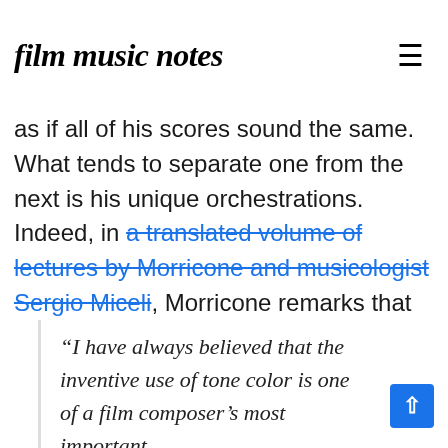film music notes
as if all of his scores sound the same. What tends to separate one from the next is his unique orchestrations. Indeed, in a translated volume of lectures by Morricone and musicologist Sergio Miceli, Morricone remarks that
“I have always believed that the inventive use of tone color is one of a film composer’s most important